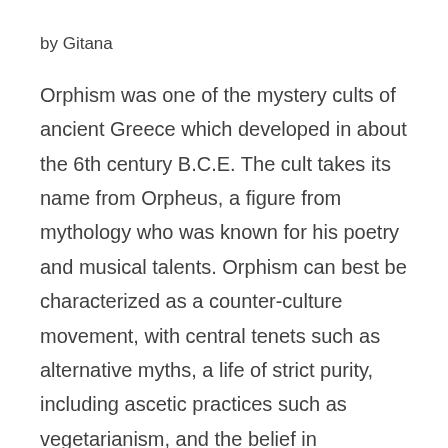by Gitana
Orphism was one of the mystery cults of ancient Greece which developed in about the 6th century B.C.E. The cult takes its name from Orpheus, a figure from mythology who was known for his poetry and musical talents. Orphism can best be characterized as a counter-culture movement, with central tenets such as alternative myths, a life of strict purity, including ascetic practices such as vegetarianism, and the belief in reincarnation. It is precisely their version of reincarnation that so easily answers the question put forth as the topic of the season: Why, if we have free will, do we keep coming back to Planet Earth?